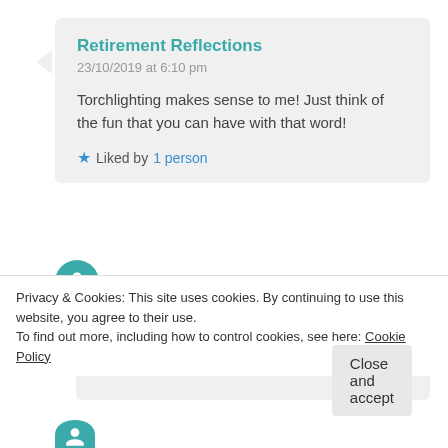Retirement Reflections
23/10/2019 at 6:10 pm
Torchlighting makes sense to me! Just think of the fun that you can have with that word!
★ Liked by 1 person
debscarey
25/10/2019 at 9:37 am
I'd only recently taught it to Himself, so I was
Privacy & Cookies: This site uses cookies. By continuing to use this website, you agree to their use.
To find out more, including how to control cookies, see here: Cookie Policy
Close and accept